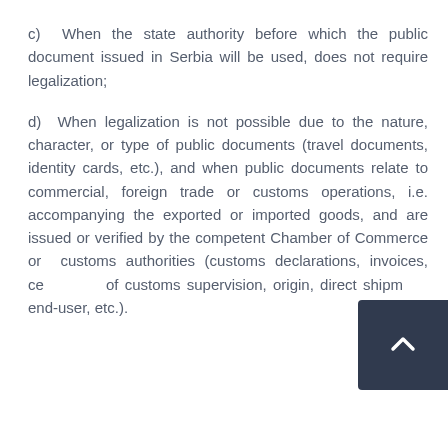c)  When the state authority before which the public document issued in Serbia will be used, does not require legalization;
d)  When legalization is not possible due to the nature, character, or type of public documents (travel documents, identity cards, etc.), and when public documents relate to commercial, foreign trade or customs operations, i.e. accompanying the exported or imported goods, and are issued or verified by the competent Chamber of Commerce or customs authorities (customs declarations, invoices, certificates of customs supervision, origin, direct shipment, end-user, etc.).